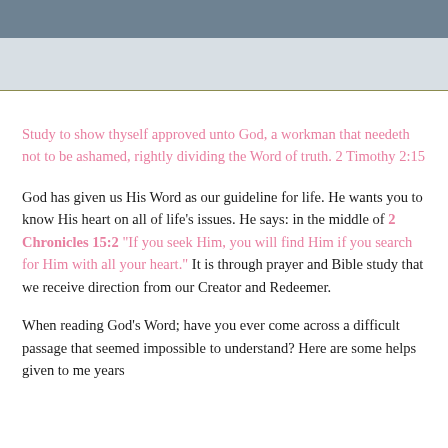Study to show thyself approved unto God,  a workman that needeth not to be ashamed, rightly dividing the Word of truth.  2 Timothy 2:15
God has given us His Word as our guideline for life.  He wants you to know His heart on all of life’s issues.  He says: in the middle of 2 Chronicles 15:2 “If you seek Him, you will find Him if you search for Him with all your heart.”  It is through prayer and Bible study that we receive direction from our Creator and Redeemer.
When reading God’s Word; have you ever come across a difficult passage that seemed impossible to understand?  Here are some helps given to me years